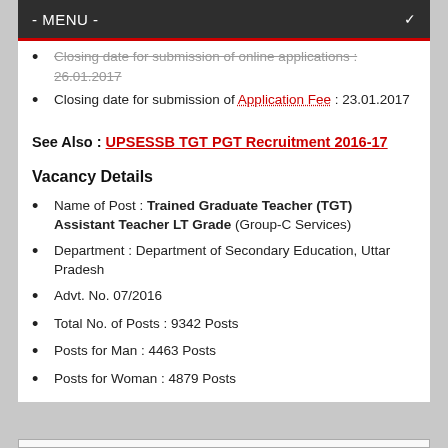- MENU -
Closing date for submission of online applications : 26.01.2017
Closing date for submission of Application Fee : 23.01.2017
See Also : UPSESSB TGT PGT Recruitment 2016-17
Vacancy Details
Name of Post : Trained Graduate Teacher (TGT) Assistant Teacher LT Grade (Group-C Services)
Department : Department of Secondary Education, Uttar Pradesh
Advt. No. 07/2016
Total No. of Posts : 9342 Posts
Posts for Man : 4463 Posts
Posts for Woman : 4879 Posts